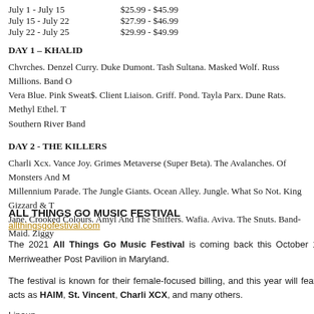July 1 - July 15   $25.99 - $45.99
July 15 - July 22   $27.99 - $46.99
July 22 - July 25   $29.99 - $49.99
DAY 1 – KHALID
Chvrches. Denzel Curry. Duke Dumont. Tash Sultana. Masked Wolf. Russ Millions. Band O... Vera Blue. Pink Sweat$. Client Liaison. Griff. Pond. Tayla Parx. Dune Rats. Methyl Ethel. T... Southern River Band
DAY 2 - THE KILLERS
Charli Xcx. Vance Joy. Grimes Metaverse (Super Beta). The Avalanches. Of Monsters And M... Millennium Parade. The Jungle Giants. Ocean Alley. Jungle. What So Not. King Gizzard & T... Jane. Crooked Colours. Amyl And The Sniffers. Wafia. Aviva. The Snuts. Band-Maid. Ziggy...
ALL THINGS GO MUSIC FESTIVAL
allthingsgofestival.com
The 2021 All Things Go Music Festival is coming back this October 16 at the Merriweather Post Pavilion in Maryland.
The festival is known for their female-focused billing, and this year will feature such acts as HAIM, St. Vincent, Charli XCX, and many others.
Lineup